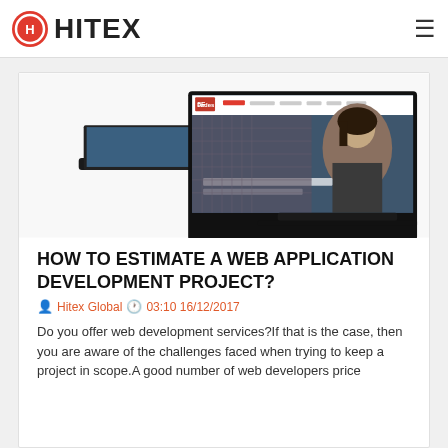HITEX
[Figure (screenshot): Screenshot of a website displayed on a laptop/tablet device mockup, showing a fashion-related website with a woman's portrait and navigation menu.]
HOW TO ESTIMATE A WEB APPLICATION DEVELOPMENT PROJECT?
Hitex Global 03:10 16/12/2017
Do you offer web development services?If that is the case, then you are aware of the challenges faced when trying to keep a project in scope.A good number of web developers price